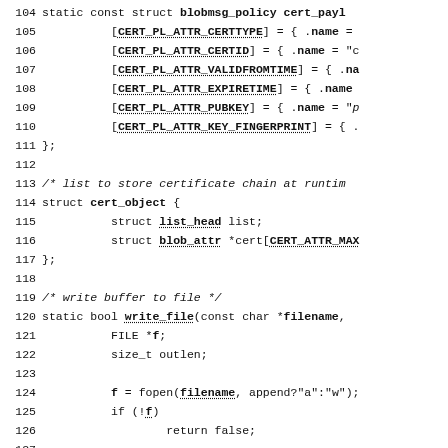[Figure (screenshot): C source code listing showing lines 104-133. Lines 104-111 define a static const struct blobmsg_policy cert_payload array. Lines 113-117 define struct cert_object with list_head and blob_attr members. Lines 119-131 define static bool write_file function. Line 133 begins a comment about reading a whole file to a buffer.]